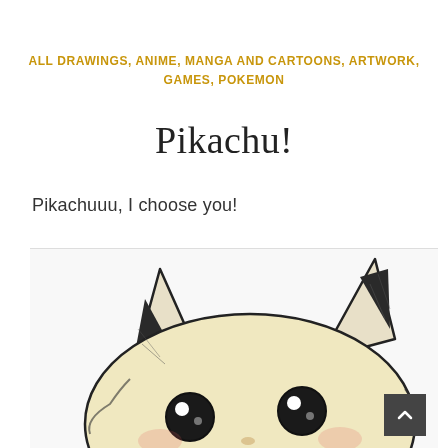ALL DRAWINGS, ANIME, MANGA AND CARTOONS, ARTWORK, GAMES, POKEMON
Pikachu!
Pikachuuu, I choose you!
[Figure (illustration): Hand-drawn pencil sketch of Pikachu peeking up, showing large round ears with dark tips, big round eyes, and the top portion of its face with rounded cheeks. The drawing is in black and white with shading.]